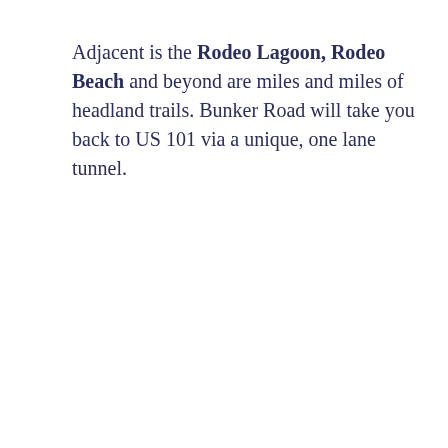Adjacent is the Rodeo Lagoon, Rodeo Beach and beyond are miles and miles of headland trails. Bunker Road will take you back to US 101 via a unique, one lane tunnel.